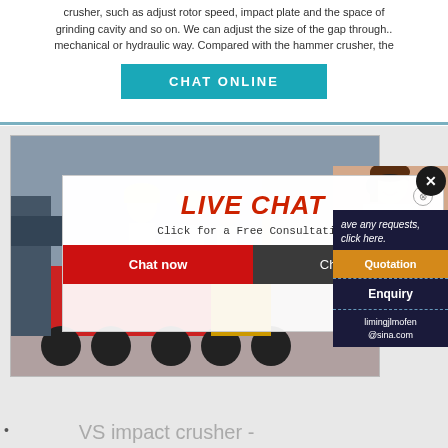crusher, such as adjust rotor speed, impact plate and the space of grinding cavity and so on. We can adjust the size of the gap through.. mechanical or hydraulic way. Compared with the hammer crusher, the
[Figure (screenshot): CHAT ONLINE button in teal/blue color]
[Figure (screenshot): Live chat popup overlay with workers in hard hats, LIVE CHAT heading in red, Click for a Free Consultation text, Chat now (red) and Chat later (dark gray) buttons. Background shows heavy machinery/trucks. Right sidebar with close X button, customer service representative image, ave any requests click here text, Quotation (gold) button, Enquiry link, and limingjlmofen@sina.com email.]
VS impact crusher -